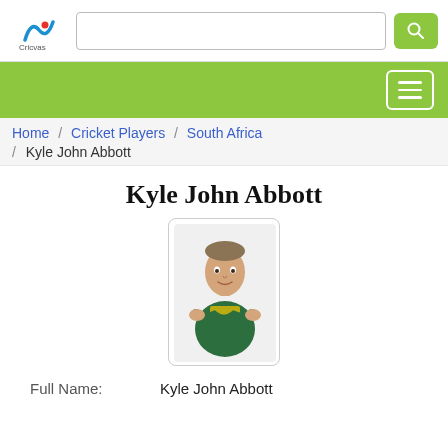Cricvas — header with logo and search bar
Home / Cricket Players / South Africa / Kyle John Abbott
Kyle John Abbott
[Figure (photo): Photo of Kyle John Abbott in South Africa cricket kit, arms crossed]
Full Name: Kyle John Abbott